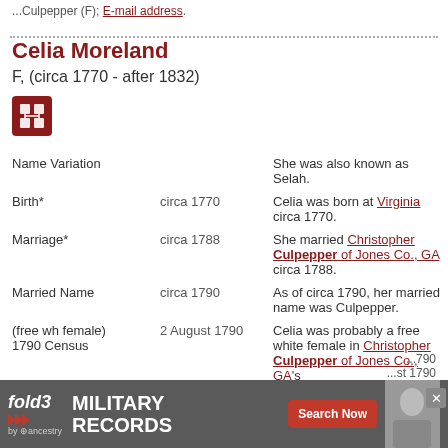...Culpepper (F); E-mail address.
Celia Moreland
F, (circa 1770 - after 1832)
| Event | Date | Details |
| --- | --- | --- |
| Name Variation |  | She was also known as Selah. |
| Birth* | circa 1770 | Celia was born at Virginia circa 1770. |
| Marriage* | circa 1788 | She married Christopher Culpepper of Jones Co., GA circa 1788. |
| Married Name | circa 1790 | As of circa 1790, her married name was Culpepper. |
| (free wh female) 1790 Census | 2 August 1790 | Celia was probably a free white female in Christopher Culpepper of Jones Co., GA's |
[Figure (infographic): Fold3 Military Records advertisement banner by Ancestry with Search Now button and soldier photo]